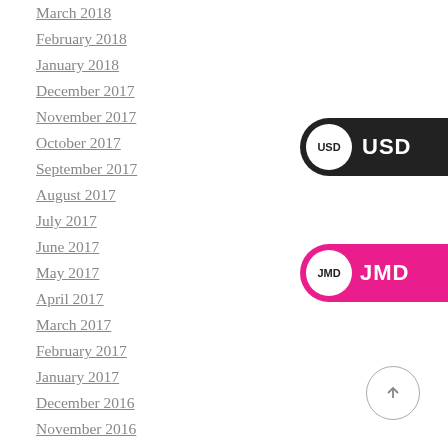March 2018
February 2018
January 2018
December 2017
November 2017
October 2017
September 2017
August 2017
July 2017
June 2017
May 2017
April 2017
March 2017
February 2017
January 2017
December 2016
November 2016
October 2016
September 2016
August 2016
July 2016
June 2016
[Figure (other): USD currency pill button - dark background with white circle showing USD label]
[Figure (other): JMD currency pill button - pink/magenta background with white circle showing JMD label]
[Figure (other): Back to top arrow button - circular border with upward arrow]